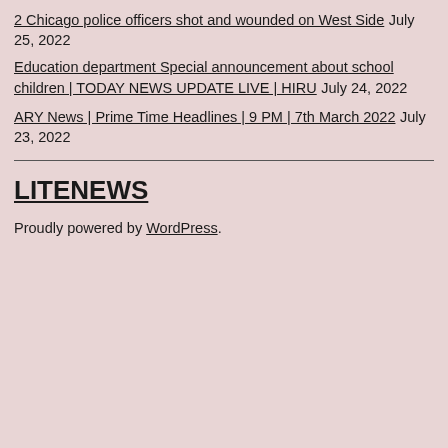2 Chicago police officers shot and wounded on West Side July 25, 2022
Education department Special announcement about school children | TODAY NEWS UPDATE LIVE | HIRU July 24, 2022
ARY News | Prime Time Headlines | 9 PM | 7th March 2022 July 23, 2022
LITENEWS
Proudly powered by WordPress.